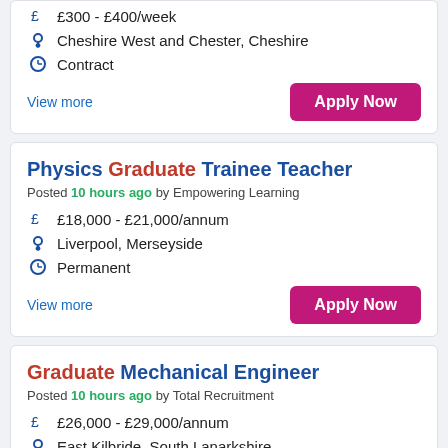£300 - £400/week | Cheshire West and Chester, Cheshire | Contract | View more | Apply Now
Physics Graduate Trainee Teacher — Posted 10 hours ago by Empowering Learning — £18,000 - £21,000/annum — Liverpool, Merseyside — Permanent — View more | Apply Now
Graduate Mechanical Engineer — Posted 10 hours ago by Total Recruitment — £26,000 - £29,000/annum — East Kilbride, South Lanarkshire